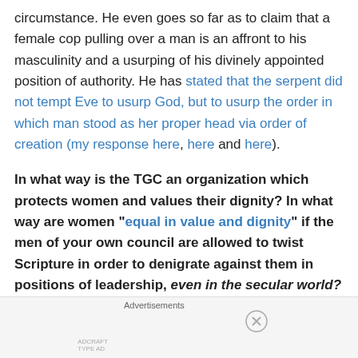circumstance. He even goes so far as to claim that a female cop pulling over a man is an affront to his masculinity and a usurping of his divinely appointed position of authority. He has stated that the serpent did not tempt Eve to usurp God, but to usurp the order in which man stood as her proper head via order of creation (my response here, here and here).
In what way is the TGC an organization which protects women and values their dignity? In what way are women "equal in value and dignity" if the men of your own council are allowed to twist Scripture in order to denigrate against them in positions of leadership, even in the secular world? Further in what way
[Figure (other): Jetpack advertisement banner with green background showing Jetpack logo and 'Secure Your Site' button, with close (X) button]